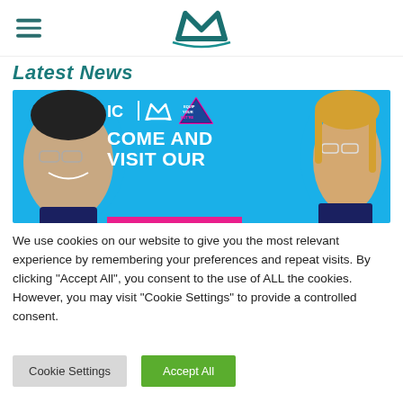Navigation header with hamburger menu and M logo
Latest News
[Figure (photo): Promotional banner with cyan/blue background featuring two students wearing glasses and safety goggles, logos for IC and M with 'Equip Your Future' text, and the words 'COME AND VISIT OUR' in large white bold text with a pink bar at the bottom.]
We use cookies on our website to give you the most relevant experience by remembering your preferences and repeat visits. By clicking "Accept All", you consent to the use of ALL the cookies. However, you may visit "Cookie Settings" to provide a controlled consent.
Cookie Settings
Accept All